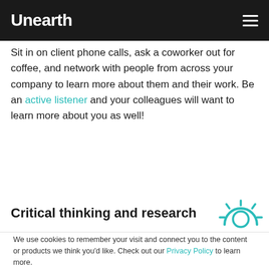Unearth
Sit in on client phone calls, ask a coworker out for coffee, and network with people from across your company to learn more about them and their work. Be an active listener and your colleagues will want to learn more about you as well!
Critical thinking and research
[Figure (illustration): Teal sun/light icon]
We use cookies to remember your visit and connect you to the content or products we think you'd like. Check out our Privacy Policy to learn more.

If you decline, we'll use a tiny cookie to remember not to track your visits.
Cookies Settings   Accept All   Decline All